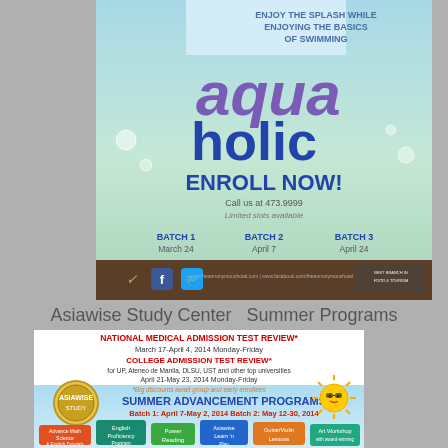[Figure (illustration): Aqua Holic swimming program advertisement. Shows a child swimming, with text 'ENJOY THE SPLASH WHILE ENJOYING THE BASICS OF SWIMMING', large 'aqua holic' logo text, 'ENROLL NOW!', 'Call us at 473.9999', 'Limited slots available', and batch schedule: BATCH 1 March 24, BATCH 2 April 7, BATCH 3 April 24. Dark brown footer bar with social media icons and awards.]
Asiawise Study Center  Summer Programs
[Figure (illustration): Asiawise Study Center Summer Programs advertisement. Features National Medical Admission Test Review (March 17-April 4, 2014, Monday-Friday), College Admission Test Review for UP, Ateneo de Manila, DLSU, UST and other top universities (April 21-May 23, 2014, Monday-Friday), Summer Advancement Programs (Batch 1: April 7-May 2, 2014; Batch 2: May 12-30, 2014). Colorful sign posts showing: Advance Math Science & English Tutorials, English Proficiency Program, Power Reading, Asiawise Learn 'n Play, Guitar/Violin Lessons, Art Workshop.]